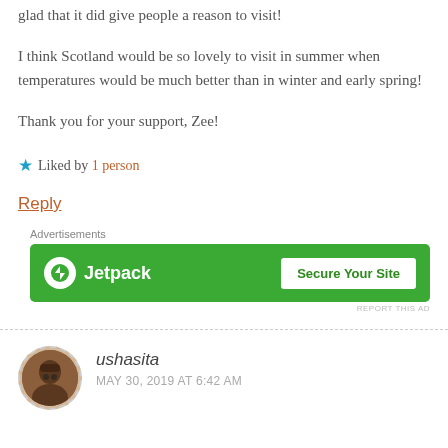glad that it did give people a reason to visit!
I think Scotland would be so lovely to visit in summer when temperatures would be much better than in winter and early spring!
Thank you for your support, Zee!
★ Liked by 1 person
Reply
Advertisements
[Figure (other): Jetpack advertisement banner with green background showing Jetpack logo and 'Secure Your Site' button]
REPORT THIS AD
ushasita
MAY 30, 2019 AT 6:42 AM